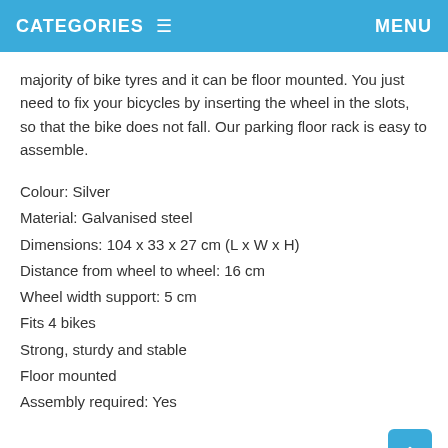CATEGORIES  ≡   MENU
majority of bike tyres and it can be floor mounted. You just need to fix your bicycles by inserting the wheel in the slots, so that the bike does not fall. Our parking floor rack is easy to assemble.
Colour: Silver
Material: Galvanised steel
Dimensions: 104 x 33 x 27 cm (L x W x H)
Distance from wheel to wheel: 16 cm
Wheel width support: 5 cm
Fits 4 bikes
Strong, sturdy and stable
Floor mounted
Assembly required: Yes
Reviews
Wizpay